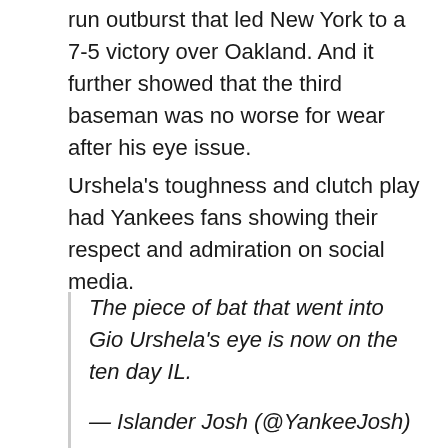run outburst that led New York to a 7-5 victory over Oakland. And it further showed that the third baseman was no worse for wear after his eye issue.
Urshela's toughness and clutch play had Yankees fans showing their respect and admiration on social media.
The piece of bat that went into Gio Urshela's eye is now on the ten day IL.

— Islander Josh (@YankeeJosh)
June 19, 2021